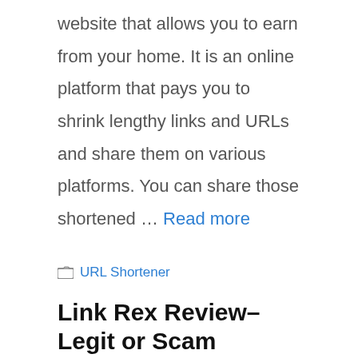website that allows you to earn from your home. It is an online platform that pays you to shrink lengthy links and URLs and share them on various platforms. You can share those shortened … Read more
URL Shortener
Link Rex Review– Legit or Scam
May 23, 2022 by Kane Dane